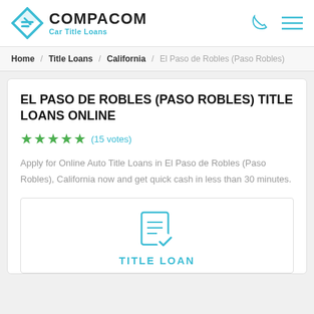COMPACOM Car Title Loans
Home / Title Loans / California / El Paso de Robles (Paso Robles)
EL PASO DE ROBLES (PASO ROBLES) TITLE LOANS ONLINE
★★★★★ (15 votes)
Apply for Online Auto Title Loans in El Paso de Robles (Paso Robles), California now and get quick cash in less than 30 minutes.
[Figure (illustration): Document checklist icon with checkmark in cyan/teal color]
TITLE LOAN